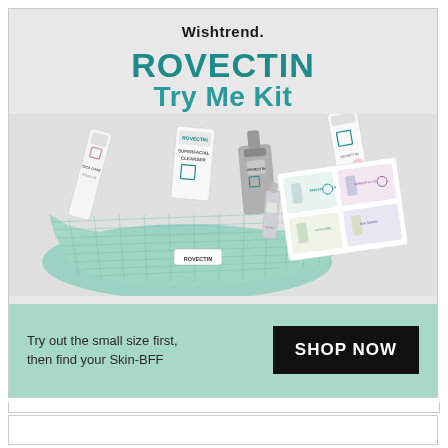[Figure (illustration): Wishtrend brand advertisement for ROVECTIN Try Me Kit showing a mint green mesh cosmetic bag with multiple skincare product tubes and bottles spilling out, including a cleanser and various cream tubes with ROVECTIN branding, along with a product guide card]
Wishtrend.
ROVECTIN Try Me Kit
Try out the small size first, then find your Skin-BFF
SHOP NOW